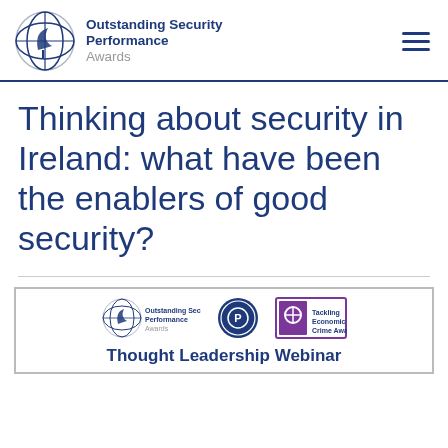Outstanding Security Performance Awards
Thinking about security in Ireland: what have been the enablers of good security?
[Figure (screenshot): Webinar slide preview showing Outstanding Security Performance Awards logo, Optcotts logo, and Tackling Economic Crime Awards logo, with text 'Thought Leadership Webinar']